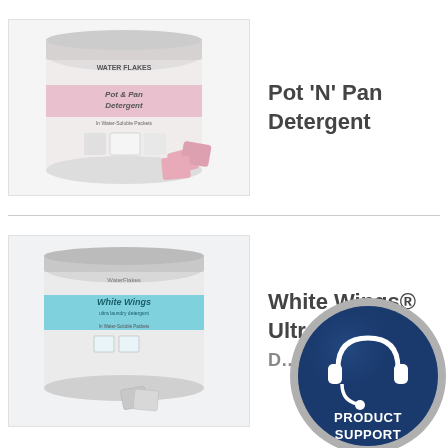[Figure (photo): Water Flakes Pot & Pan Detergent product bucket with pink detergent packets scattered in front]
Pot 'N' Pan Detergent
[Figure (photo): Water Flakes White Wings Ultra Laundry Detergent product bucket with packets in front]
White Wings® Ultra Laundry D...
[Figure (illustration): Product Support badge — circular dark navy blue badge with headset icon and text PRODUCT SUPPORT]